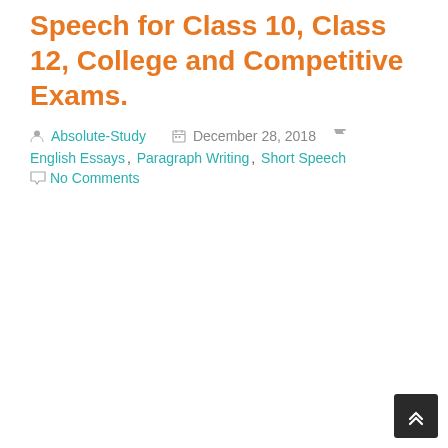Speech for Class 10, Class 12, College and Competitive Exams.
Absolute-Study  December 28, 2018  English Essays, Paragraph Writing, Short Speech  No Comments